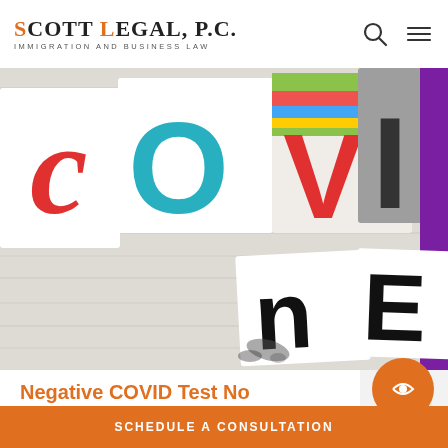SCOTT LEGAL, P.C. IMMIGRATION AND BUSINESS LAW
[Figure (photo): Colorful cut-out paper letters spelling COVID-19 arranged on a white wood surface. Letters shown include a cursive red 'C', teal 'O', red 'V', multi-colored 'I', dark grey 'D', and partial letters including handwritten 'n' and bold black 'E' in lower portion.]
Negative COVID Test No
SCHEDULE A CONSULTATION